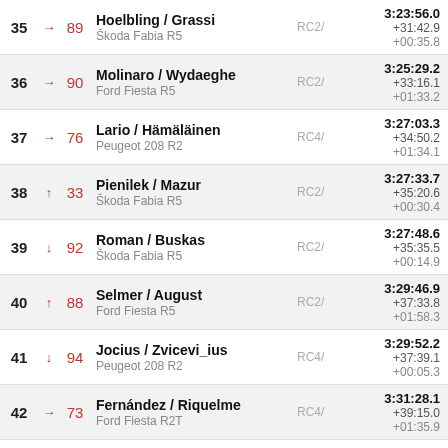| Pos | Trend | No | Driver/Car | Category | Time/Gap |
| --- | --- | --- | --- | --- | --- |
| 35 | → | 89 | Hoelbling / Grassi
Škoda Fabia R5 | RC2/ | 3:23:56.0
+31:42.9
+00:35.8 |
| 36 | → | 90 | Molinaro / Wydaeghe
Ford Fiesta R5 | RC2/ | 3:25:29.2
+33:16.1
+01:33.2 |
| 37 | → | 76 | Lario / Hämäläinen
Peugeot 208 R2 | RC4/ | 3:27:03.3
+34:50.2
+01:34.1 |
| 38 | ↑ | 33 | Pienilek / Mazur
Škoda Fabia R5 | RC2/ | 3:27:33.7
+35:20.6
+00:30.4 |
| 39 | ↓ | 92 | Roman / Buskas
Škoda Fabia R5 | RC2/ | 3:27:48.6
+35:35.5
+00:14.9 |
| 40 | ↑ | 88 | Selmer / August
Ford Fiesta R5 | RC2/ | 3:29:46.9
+37:33.8
+01:58.3 |
| 41 | ↓ | 94 | Jocius / Zvicevi_ius
Peugeot 208 R2 | RC4/ | 3:29:52.2
+37:39.1
+00:05.3 |
| 42 | → | 73 | Fernández / Riquelme
Ford Fiesta R2T | RC4/ | 3:31:28.1
+39:15.0
+01:35.9 |